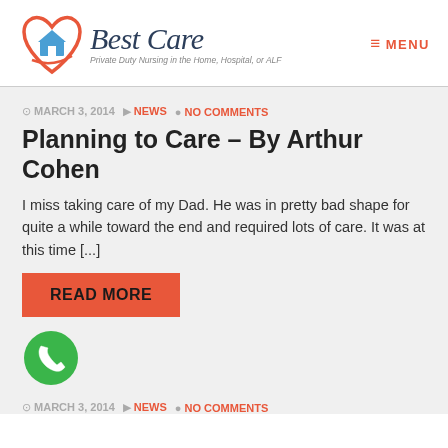[Figure (logo): Best Care logo with heart icon containing a house, and text 'Best Care' in script font with tagline 'Private Duty Nursing in the Home, Hospital, or ALF']
≡ MENU
© MARCH 3, 2014  ▶ NEWS  ● NO COMMENTS
Planning to Care – By Arthur Cohen
I miss taking care of my Dad. He was in pretty bad shape for quite a while toward the end and required lots of care. It was at this time [...]
READ MORE
[Figure (illustration): Green circle phone icon]
© MARCH 3, 2014  ▶ NEWS  ● NO COMMENTS